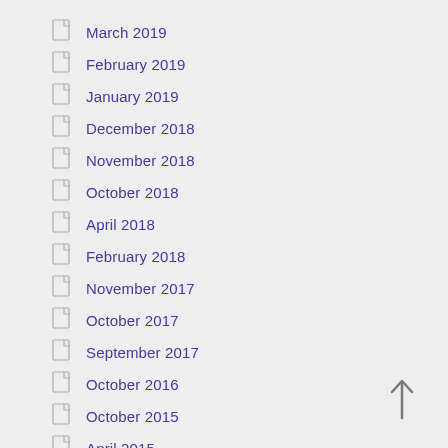March 2019
February 2019
January 2019
December 2018
November 2018
October 2018
April 2018
February 2018
November 2017
October 2017
September 2017
October 2016
October 2015
April 2015